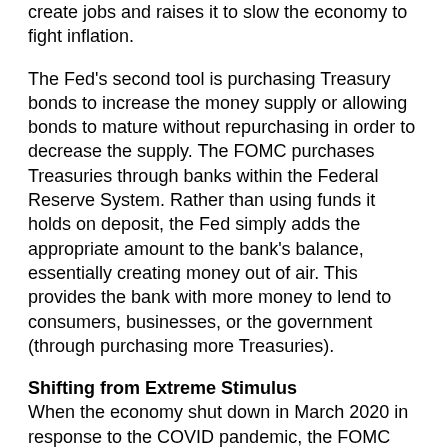create jobs and raises it to slow the economy to fight inflation.
The Fed's second tool is purchasing Treasury bonds to increase the money supply or allowing bonds to mature without repurchasing in order to decrease the supply. The FOMC purchases Treasuries through banks within the Federal Reserve System. Rather than using funds it holds on deposit, the Fed simply adds the appropriate amount to the bank's balance, essentially creating money out of air. This provides the bank with more money to lend to consumers, businesses, or the government (through purchasing more Treasuries).
Shifting from Extreme Stimulus
When the economy shut down in March 2020 in response to the COVID pandemic, the FOMC took extraordinary stimulus measures to avoid a deep recession. The Committee dropped the federal funds rate to its rock-bottom range of 0% to 0.25% and began a bond-buying program that reached an unprecedented level of $75